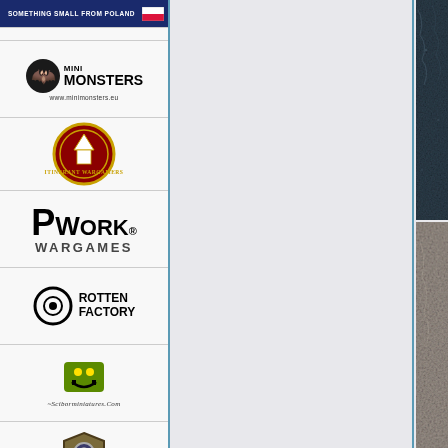[Figure (logo): Banner reading SOMETHING SMALL FROM POLAND with Polish flag icon]
[Figure (logo): Mini Monsters logo with monster icon and www.minimonsters.eu URL]
[Figure (logo): Itinerant Wargamers circular emblem logo with tent]
[Figure (logo): PWork Wargames logo in bold black lettering]
[Figure (logo): Rotten Factory logo with circular eye icon]
[Figure (logo): Sciborminiatures.com logo with green monster mascot]
[Figure (logo): Medieval Armour shield and weapons logo]
[Figure (logo): Spellcrow logo with blue feathered wing icon]
[Figure (photo): Dark blue textured surface photo]
[Figure (photo): Beige/grey textured surface photo]